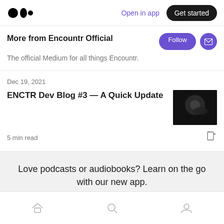Medium logo | Open in app | Get started
More from Encountr Official
The official Medium for all things Encountr.
Dec 19, 2021
ENCTR Dev Blog #3 — A Quick Update
5 min read
Love podcasts or audiobooks? Learn on the go with our new app.
Try Knowable
Home | Search | Profile